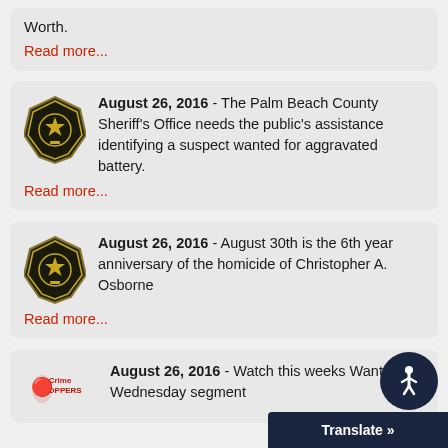Worth.
Read more...
August 26, 2016 - The Palm Beach County Sheriff's Office needs the public's assistance identifying a suspect wanted for aggravated battery.
Read more...
August 26, 2016 - August 30th is the 6th year anniversary of the homicide of Christopher A. Osborne
Read more...
August 26, 2016 - Watch this weeks Wanted Wednesday segment